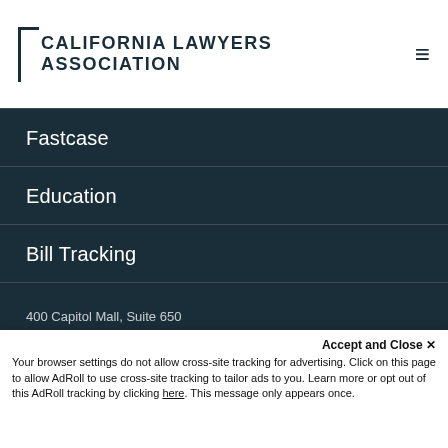CALIFORNIA LAWYERS ASSOCIATION
Fastcase
Education
Bill Tracking
Free MCLE for CLA Members
Awards
Career Center
CalBar Connect
400 Capitol Mall, Suite 650
Accept and Close ×
Your browser settings do not allow cross-site tracking for advertising. Click on this page to allow AdRoll to use cross-site tracking to tailor ads to you. Learn more or opt out of this AdRoll tracking by clicking here. This message only appears once.